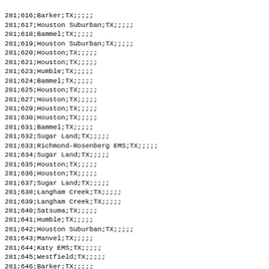281;616;Barker;TX;;;;;
281;617;Houston Suburban;TX;;;;;
281;618;Bammel;TX;;;;;
281;619;Houston Suburban;TX;;;;;
281;620;Houston;TX;;;;;
281;621;Houston;TX;;;;;
281;623;Humble;TX;;;;;
281;624;Bammel;TX;;;;;
281;625;Houston;TX;;;;;
281;627;Houston;TX;;;;;
281;629;Houston;TX;;;;;
281;630;Houston;TX;;;;;
281;631;Bammel;TX;;;;;
281;632;Sugar Land;TX;;;;;
281;633;Richmond-Rosenberg EMS;TX;;;;;
281;634;Sugar Land;TX;;;;;
281;635;Houston;TX;;;;;
281;636;Houston;TX;;;;;
281;637;Sugar Land;TX;;;;;
281;638;Langham Creek;TX;;;;;
281;639;Langham Creek;TX;;;;;
281;640;Satsuma;TX;;;;;
281;641;Humble;TX;;;;;
281;642;Houston Suburban;TX;;;;;
281;643;Manvel;TX;;;;;
281;644;Katy EMS;TX;;;;;
281;645;Westfield;TX;;;;;
281;646;Barker;TX;;;;;
281;647;Barker;TX;;;;;
281;648;Friendswood;TX;;;;;
281;649;Houston Suburban;TX;;;;;